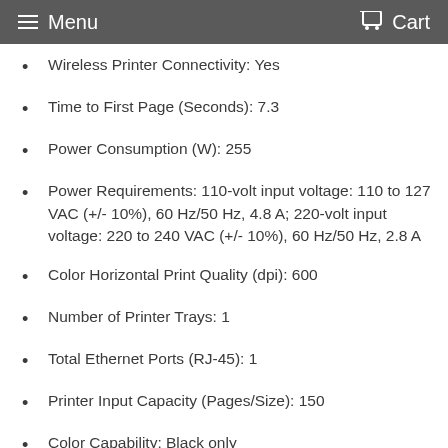Menu   Cart
Wireless Printer Connectivity: Yes
Time to First Page (Seconds): 7.3
Power Consumption (W): 255
Power Requirements: 110-volt input voltage: 110 to 127 VAC (+/- 10%), 60 Hz/50 Hz, 4.8 A; 220-volt input voltage: 220 to 240 VAC (+/- 10%), 60 Hz/50 Hz, 2.8 A
Color Horizontal Print Quality (dpi): 600
Number of Printer Trays: 1
Total Ethernet Ports (RJ-45): 1
Printer Input Capacity (Pages/Size): 150
Color Capability: Black only
Number of Cartridges Required: 1
Color (Generic): White